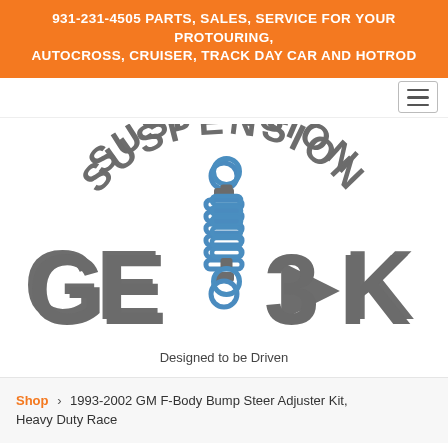931-231-4505 PARTS, SALES, SERVICE FOR YOUR PROTOURING, AUTOCROSS, CRUISER, TRACK DAY CAR AND HOTROD
[Figure (logo): Suspension Geek logo with coilover shock absorber graphic and text 'Designed to be Driven']
Shop › 1993-2002 GM F-Body Bump Steer Adjuster Kit, Heavy Duty Race